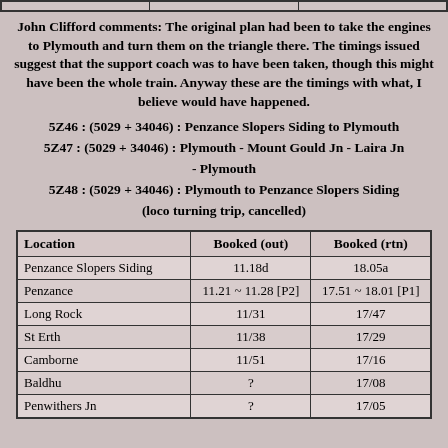John Clifford comments: The original plan had been to take the engines to Plymouth and turn them on the triangle there. The timings issued suggest that the support coach was to have been taken, though this might have been the whole train. Anyway these are the timings with what, I believe would have happened.
5Z46 : (5029 + 34046) : Penzance Slopers Siding to Plymouth
5Z47 : (5029 + 34046) : Plymouth - Mount Gould Jn - Laira Jn - Plymouth
5Z48 : (5029 + 34046) : Plymouth to Penzance Slopers Siding (loco turning trip, cancelled)
| Location | Booked (out) | Booked (rtn) |
| --- | --- | --- |
| Penzance Slopers Siding | 11.18d | 18.05a |
| Penzance | 11.21 ~ 11.28 [P2] | 17.51 ~ 18.01 [P1] |
| Long Rock | 11/31 | 17/47 |
| St Erth | 11/38 | 17/29 |
| Camborne | 11/51 | 17/16 |
| Baldhu | ? | 17/08 |
| Penwithers Jn | ? | 17/05 |